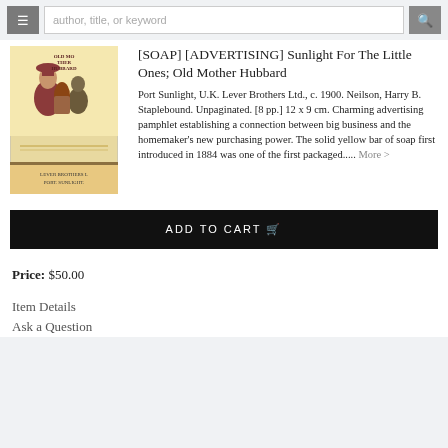author, title, or keyword
[Figure (illustration): Book cover of 'Old Mother Hubbard' advertising pamphlet by Lever Brothers Ltd., Port Sunlight, showing illustrated characters]
[SOAP] [ADVERTISING] Sunlight For The Little Ones; Old Mother Hubbard
Port Sunlight, U.K. Lever Brothers Ltd., c. 1900. Neilson, Harry B. Staplebound. Unpaginated. [8 pp.] 12 x 9 cm. Charming advertising pamphlet establishing a connection between big business and the homemaker's new purchasing power. The solid yellow bar of soap first introduced in 1884 was one of the first packaged..... More >
ADD TO CART
Price: $50.00
Item Details
Ask a Question